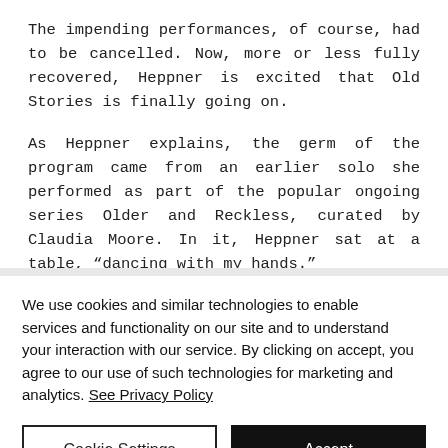The impending performances, of course, had to be cancelled. Now, more or less fully recovered, Heppner is excited that Old Stories is finally going on.
As Heppner explains, the germ of the program came from an earlier solo she performed as part of the popular ongoing series Older and Reckless, curated by Claudia Moore. In it, Heppner sat at a table, “dancing with my hands.”
We use cookies and similar technologies to enable services and functionality on our site and to understand your interaction with our service. By clicking on accept, you agree to our use of such technologies for marketing and analytics. See Privacy Policy